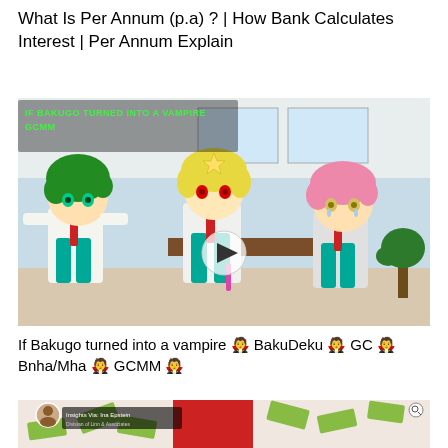What Is Per Annum (p.a) ? | How Bank Calculates Interest | Per Annum Explain
[Figure (screenshot): Anime-style cartoon thumbnail showing three chibi characters in school uniforms — one with green hair, one with blonde hair (vampire), one with pink hair — in a classroom setting. Text overlay reads 'IF BAKUGO TURNED INTO A VAMPIRE GCMM']
If Bakugo turned into a vampire 🧛 BakuDeku 🧛 GC 🧛 Bnha/Mha 🧛 GCMM 🧛
[Figure (screenshot): Partial thumbnail of a video showing dollar bills flying around a red box, with a profile image and overlay text reading 'Insights Via Ina Epstein, Divisian of Linn & Associates' and a search/zoom icon in top right corner.]